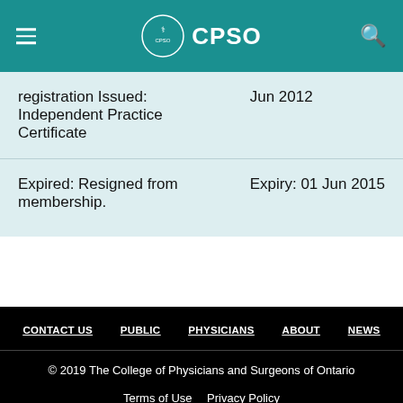CPSO
| Registration Type | Date |
| --- | --- |
| registration Issued: Independent Practice Certificate | Jun 2012 |
| Expired: Resigned from membership. | Expiry: 01 Jun 2015 |
CONTACT US  PUBLIC  PHYSICIANS  ABOUT  NEWS
© 2019 The College of Physicians and Surgeons of Ontario
Terms of Use  Privacy Policy